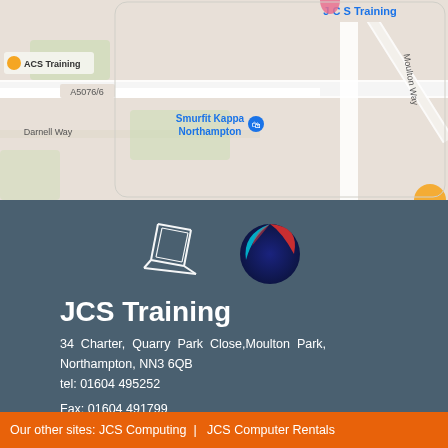[Figure (map): Google Maps view showing JCS Training location near Smurfit Kappa Northampton, with roads including A5076, Darnell Way, and Moulton Way visible.]
[Figure (logo): JCS Training logo consisting of a stylized white line drawing of a laptop/book and a spherical logo with red, cyan and dark blue colors.]
JCS Training
34 Charter, Quarry Park Close,Moulton Park, Northampton, NN3 6QB
tel: 01604 495252
Fax: 01604 491799
email: training@jcstraining.com
2017 © JCS Group. All rights reserved.
Our other sites: JCS Computing  |   JCS Computer Rentals